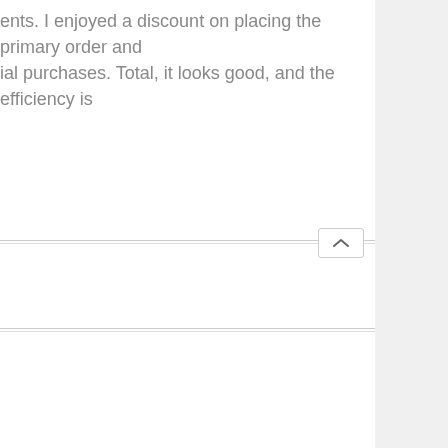ents. I enjoyed a discount on placing the primary order and ial purchases. Total, it looks good, and the efficiency is
[Figure (screenshot): A UI collapse/expand button with an upward caret arrow icon, placed at a horizontal divider line separating two content sections]